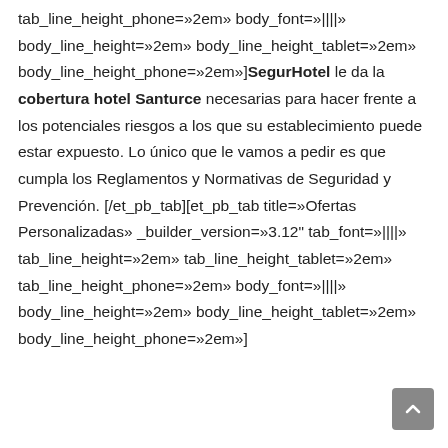tab_line_height_phone=»2em» body_font=»||||» body_line_height=»2em» body_line_height_tablet=»2em» body_line_height_phone=»2em»]SegurHotel le da la cobertura hotel Santurce necesarias para hacer frente a los potenciales riesgos a los que su establecimiento puede estar expuesto. Lo único que le vamos a pedir es que cumpla los Reglamentos y Normativas de Seguridad y Prevención. [/et_pb_tab][et_pb_tab title=»Ofertas Personalizadas» _builder_version=»3.12" tab_font=»||||» tab_line_height=»2em» tab_line_height_tablet=»2em» tab_line_height_phone=»2em» body_font=»||||» body_line_height=»2em» body_line_height_tablet=»2em» body_line_height_phone=»2em»]